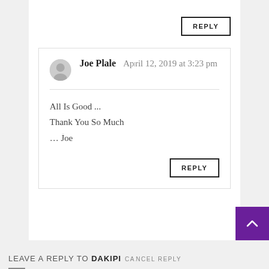REPLY
Joe Plale  April 12, 2019 at 3:23 pm
All Is Good ...
Thank You So Much
... Joe
REPLY
LEAVE A REPLY TO DAKIPI  CANCEL REPLY